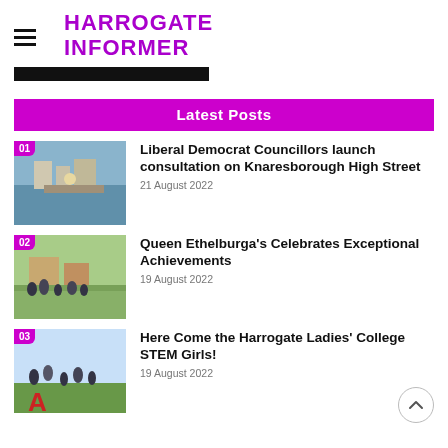HARROGATE INFORMER
[Figure (other): Black bar / redacted banner element below the header]
Latest Posts
Liberal Democrat Councillors launch consultation on Knaresborough High Street
21 August 2022
Queen Ethelburga's Celebrates Exceptional Achievements
19 August 2022
Here Come the Harrogate Ladies' College STEM Girls!
19 August 2022